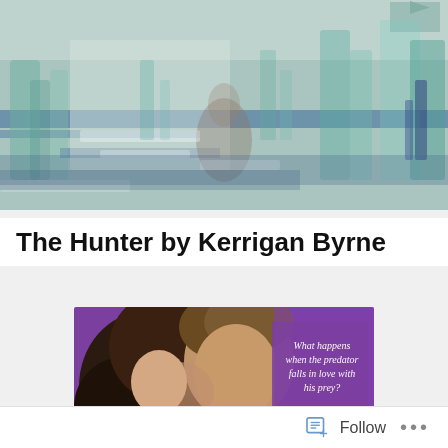[Figure (illustration): Abstract painting banner with teal, blue, white, and grey brushstrokes. A faint silhouette of a figure is visible in the center-lower portion of the painting.]
The Hunter by Kerrigan Byrne
[Figure (photo): Book cover for 'The Hunter by Kerrigan Byrne'. Shows a man and woman about to kiss against a purple background. White italic text reads: 'What happens when the predator falls in love with his prey?']
Follow ...